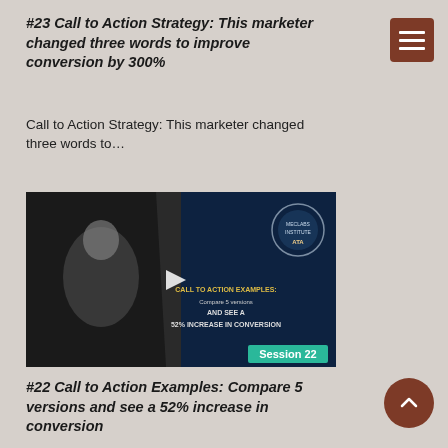#23 Call to Action Strategy: This marketer changed three words to improve conversion by 300%
Call to Action Strategy: This marketer changed three words to...
[Figure (screenshot): Video thumbnail for Session 22: Call to Action Examples - Compare 5 versions and see a 52% increase in conversion. Shows a speaker on stage gesturing, with session badge 'Session 22' in bottom right corner.]
#22 Call to Action Examples: Compare 5 versions and see a 52% increase in conversion
You can see resources related to this Session #22 video...
[Figure (screenshot): Video thumbnail for another session, partially visible. Shows a speaker on stage, with text 'VALUE PROPOSITION CREDIBILITY' visible at bottom.]